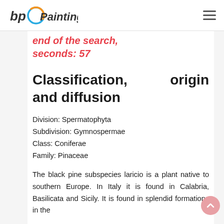bp Painting [logo]
end of the search, seconds: 57
Classification, origin and diffusion
Division: Spermatophyta
Subdivision: Gymnospermae
Class: Coniferae
Family: Pinaceae
The black pine subspecies laricio is a plant native to southern Europe. In Italy it is found in Calabria, Basilicata and Sicily. It is found in splendid formations in the